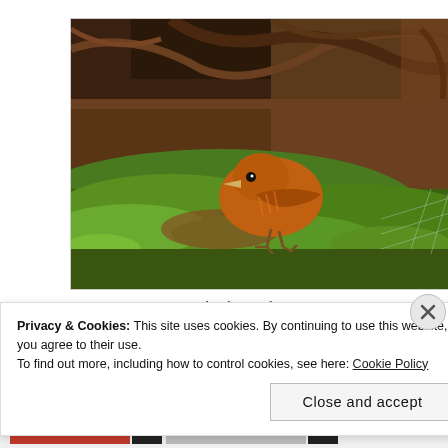[Figure (photo): A small orange-brown bird (Ochre-breasted Antpitta) standing on green moss-covered ground with brown earth, twigs, and forest debris in the background.]
Ochre-breasted Antpitta
Privacy & Cookies: This site uses cookies. By continuing to use this website, you agree to their use.
To find out more, including how to control cookies, see here: Cookie Policy